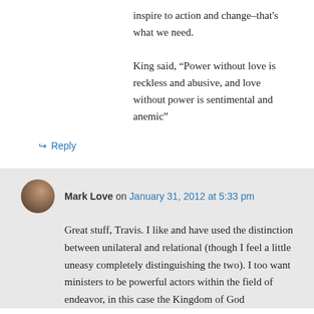inspire to action and change–that's what we need.
King said, “Power without love is reckless and abusive, and love without power is sentimental and anemic”
↳ Reply
Mark Love on January 31, 2012 at 5:33 pm
Great stuff, Travis. I like and have used the distinction between unilateral and relational (though I feel a little uneasy completely distinguishing the two). I too want ministers to be powerful actors within the field of endeavor, in this case the Kingdom of God